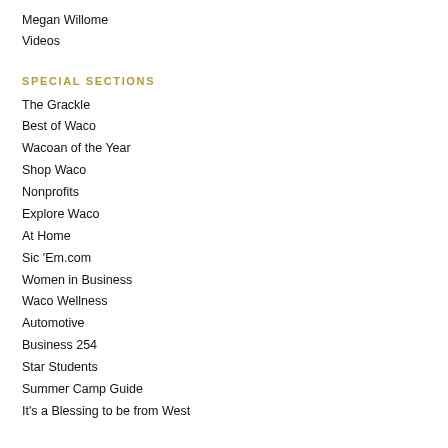Megan Willome
Videos
SPECIAL SECTIONS
The Grackle
Best of Waco
Wacoan of the Year
Shop Waco
Nonprofits
Explore Waco
At Home
Sic 'Em.com
Women in Business
Waco Wellness
Automotive
Business 254
Star Students
Summer Camp Guide
It's a Blessing to be from West